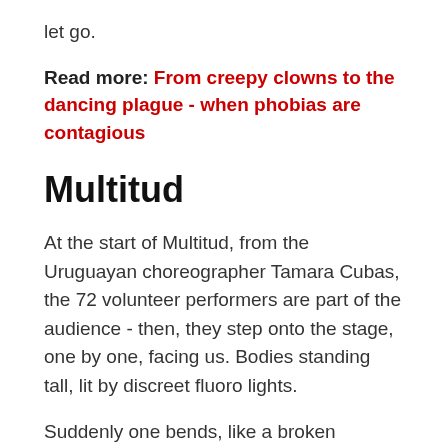let go.
Read more: From creepy clowns to the dancing plague - when phobias are contagious
Multitud
At the start of Multitud, from the Uruguayan choreographer Tamara Cubas, the 72 volunteer performers are part of the audience - then, they step onto the stage, one by one, facing us. Bodies standing tall, lit by discreet fluoro lights.
Suddenly one bends, like a broken puppet, then another. Some fall to the